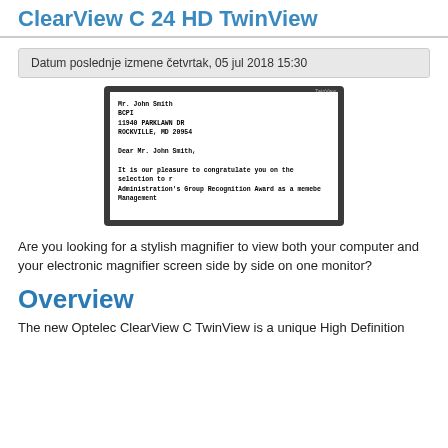ClearView C 24 HD TwinView
Datum poslednje izmene četvrtak, 05 jul 2018 15:30
[Figure (screenshot): Screenshot of a monitor displaying a letter addressed to Mr. John Smith, BCPI, 11940 PARKLAWN DR, ROCKVILLE, MD 20954. The letter begins: Dear Mr. John Smith, It is our pleasure to congratulate you on the selection to r... Administration's Group Recognition Award as a memebe... Management...]
Are you looking for a stylish magnifier to view both your computer and your electronic magnifier screen side by side on one monitor?
Overview
The new Optelec ClearView C TwinView is a unique High Definition